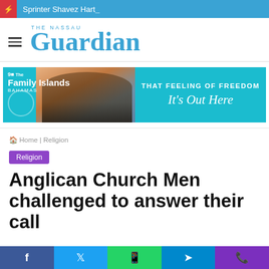Sprinter Shavez Hart_
[Figure (logo): The Nassau Guardian logo with hamburger menu icon]
[Figure (infographic): Family Islands Bahamas tourism advertisement banner — That Feeling of Freedom, It's Out Here]
Home | Religion
Religion
Anglican Church Men challenged to answer their call
Facebook | Twitter | WhatsApp | Telegram | Phone